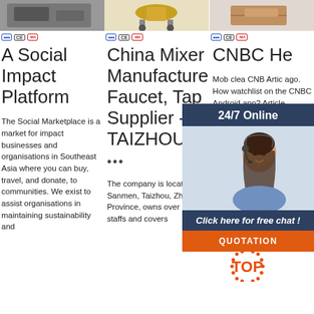[Figure (photo): Product photo in first column (partial, top cropped)]
[Figure (photo): Product photo in second column (partial, top cropped) - yellow wheeled equipment]
[Figure (photo): Product photo in third column (partial, top cropped)]
CE badge row with certification icons: blue badge, CE, red badge — repeated three times across columns
A Social Impact Platform
The Social Marketplace is a market for impact businesses and organisations in Southeast Asia where you can buy, travel, and donate, to communities. We exist to assist organisations in maintaining sustainability and
China Mixer Manufacturer, Faucet, Tap Supplier - TAIZHOU
...
The company is located in Sanmen, Taizhou, Zhejiang Province, owns over 100 staffs and covers
CNBC He
Mob clea CNB Artic ago. How watchlist on the CNBC Android app? Article created 9 days ago. 0. FAQ I need to contact CNBC's media relations team. Article
[Figure (photo): 24/7 Online chat widget overlay with agent photo, 'Click here for free chat!' text and QUOTATION button]
[Figure (logo): TOP watermark/logo in orange with dotted circle]